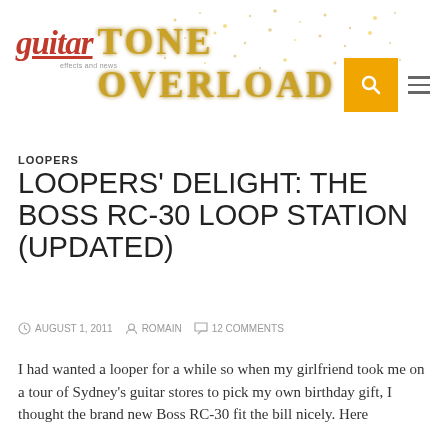guitar TONE OVERLOAD
LOOPERS
LOOPERS' DELIGHT: THE BOSS RC-30 LOOP STATION (UPDATED)
AUGUST 1, 2011   ROMAIN   12 COMMENTS
I had wanted a looper for a while so when my girlfriend took me on a tour of Sydney's guitar stores to pick my own birthday gift, I thought the brand new Boss RC-30 fit the bill nicely. Here